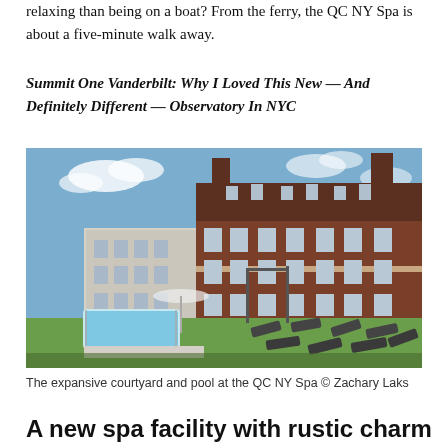relaxing than being on a boat? From the ferry, the QC NY Spa is about a five-minute walk away.
Summit One Vanderbilt: Why I Loved This New — And Definitely Different — Observatory In NYC
[Figure (photo): Exterior photo of the QC NY Spa building — a large red-brick multi-storey building with a mansard roof, photographed from the courtyard showing a pool and lounge chairs on green grass under a blue sky.]
The expansive courtyard and pool at the QC NY Spa © Zachary Laks
A new spa facility with rustic charm